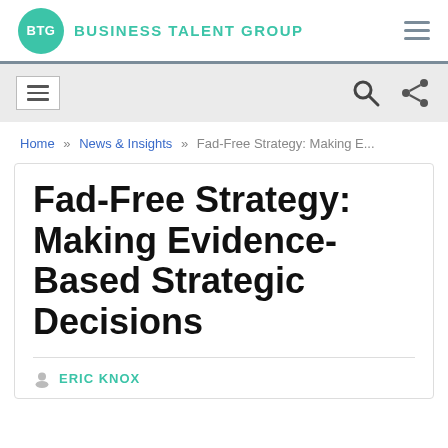BTG BUSINESS TALENT GROUP
[Figure (logo): BTG Business Talent Group logo with teal circle and hamburger menu icon]
[Figure (screenshot): Secondary navigation bar with hamburger menu, search icon, and share icon]
Home » News & Insights » Fad-Free Strategy: Making E...
Fad-Free Strategy: Making Evidence-Based Strategic Decisions
ERIC KNOX